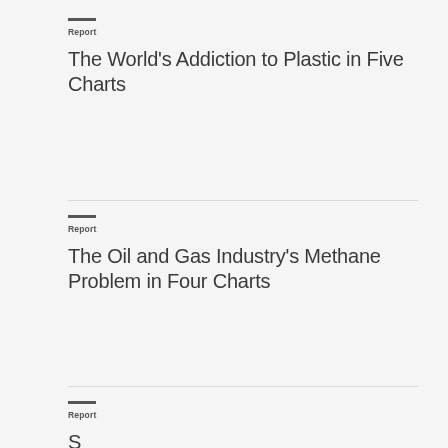Report
The World's Addiction to Plastic in Five Charts
Report
The Oil and Gas Industry's Methane Problem in Four Charts
Report
S…